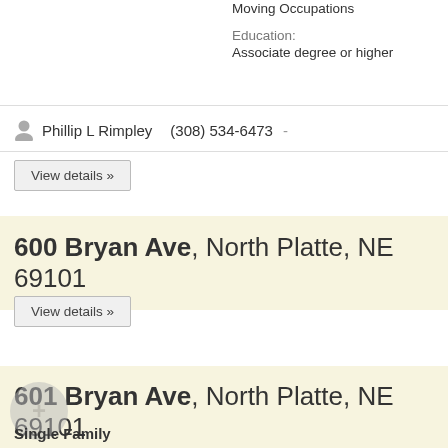Moving Occupations
Education: Associate degree or higher
Phillip L Rimpley   (308) 534-6473   -
View details »
600 Bryan Ave, North Platte, NE 69101
View details »
601 Bryan Ave, North Platte, NE 69101
Single Family